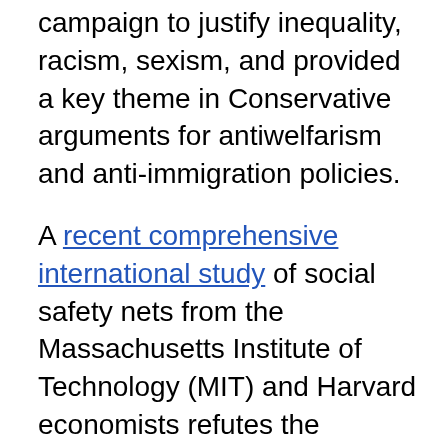campaign to justify inequality, racism, sexism, and provided a key theme in Conservative arguments for antiwelfarism and anti-immigration policies.
A recent comprehensive international study of social safety nets from the Massachusetts Institute of Technology (MIT) and Harvard economists refutes the Conservative “scrounger” stereotype and dependency rhetoric. Abhijit Banerjee, Rema Hanna, Gabriel Kreindler, and Benjamin Olken re-analyzed data from seven randomized experiments evaluating cash programs in poor countries and found